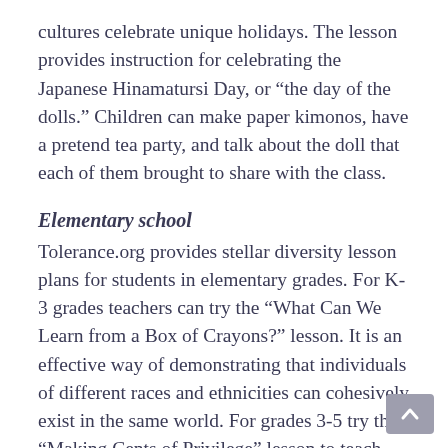cultures celebrate unique holidays. The lesson provides instruction for celebrating the Japanese Hinamatursi Day, or “the day of the dolls.” Children can make paper kimonos, have a pretend tea party, and talk about the doll that each of them brought to share with the class.
Elementary school
Tolerance.org provides stellar diversity lesson plans for students in elementary grades. For K-3 grades teachers can try the “What Can We Learn from a Box of Crayons?” lesson. It is an effective way of demonstrating that individuals of different races and ethnicities can cohesively exist in the same world. For grades 3-5 try the “Making Cents of Privilege” lesson to teach students about economic disparity.